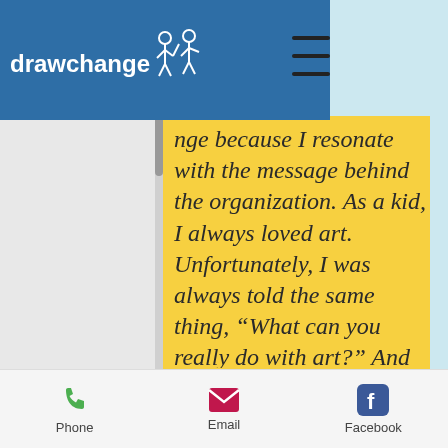drawchange
nge because I resonate with the message behind the organization. As a kid, I always loved art. Unfortunately, I was always told the same thing, “What can you really do with art?” And as a child all the way into my late teens I would ask myself that same question
Phone  Email  Facebook